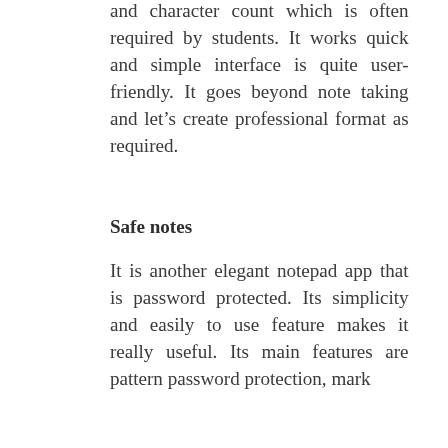and character count which is often required by students. It works quick and simple interface is quite user-friendly. It goes beyond note taking and let's create professional format as required.
Safe notes
It is another elegant notepad app that is password protected. Its simplicity and easily to use feature makes it really useful. Its main features are pattern password protection, mark